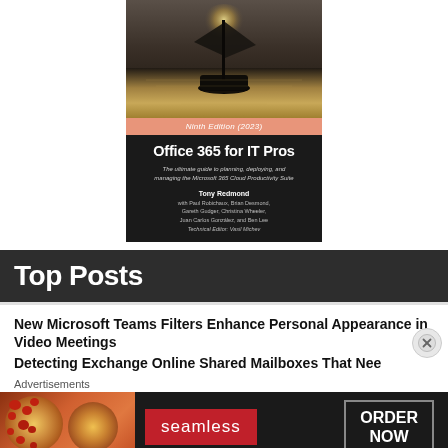[Figure (illustration): Book cover of 'Office 365 for IT Pros' Ninth Edition (2023) showing a sailing ship silhouette on water with a glowing sun, salmon-colored edition bar, dark background with title, subtitle, and author information]
Top Posts
New Microsoft Teams Filters Enhance Personal Appearance in Video Meetings
Detecting Exchange Online Shared Mailboxes That Need Attention
Advertisements
[Figure (screenshot): Seamless food delivery advertisement banner showing pizza slices on the left, Seamless logo in the center, and ORDER NOW button on the right]